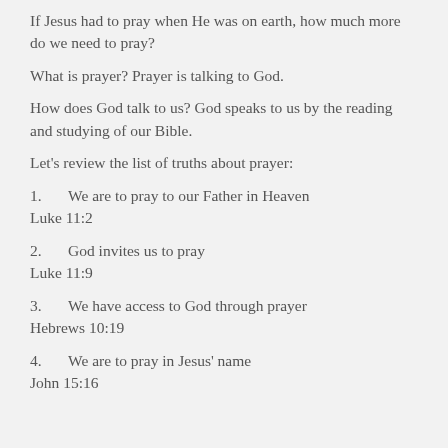If Jesus had to pray when He was on earth, how much more do we need to pray?
What is prayer? Prayer is talking to God.
How does God talk to us? God speaks to us by the reading and studying of our Bible.
Let's review the list of truths about prayer:
1.      We are to pray to our Father in Heaven
Luke 11:2
2.      God invites us to pray
Luke 11:9
3.      We have access to God through prayer
Hebrews 10:19
4.      We are to pray in Jesus' name
John 15:16